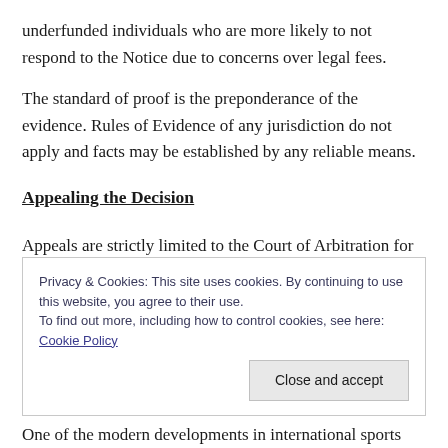underfunded individuals who are more likely to not respond to the Notice due to concerns over legal fees.
The standard of proof is the preponderance of the evidence. Rules of Evidence of any jurisdiction do not apply and facts may be established by any reliable means.
Appealing the Decision
Appeals are strictly limited to the Court of Arbitration for Sport.
Privacy & Cookies: This site uses cookies. By continuing to use this website, you agree to their use.
To find out more, including how to control cookies, see here: Cookie Policy
One of the modern developments in international sports